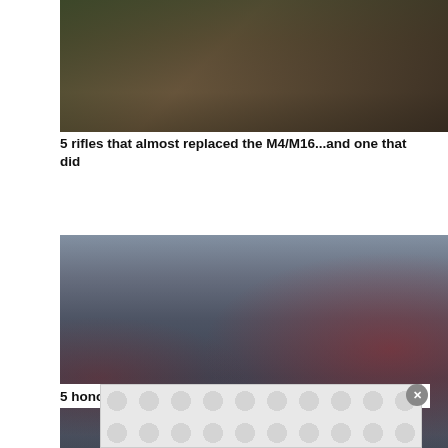[Figure (photo): Soldier in camouflage gear lying prone with a rifle (appears to be an M4/M16 style) aimed forward, in an outdoor setting with dirt and vegetation]
5 rifles that almost replaced the M4/M16...and one that did
[Figure (photo): Group of veterans wearing biker vests carrying boxes and flags, including American flags, in an outdoor ceremony setting]
5 honorable ways veterans pay respect to the fallen